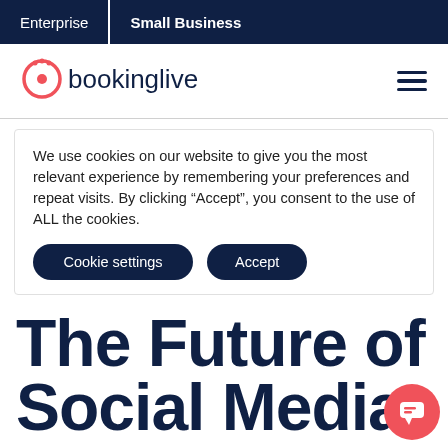Enterprise | Small Business
[Figure (logo): BookingLive logo with red/coral circular icon and dark text]
We use cookies on our website to give you the most relevant experience by remembering your preferences and repeat visits. By clicking “Accept”, you consent to the use of ALL the cookies.
Cookie settings | Accept
The Future of Social Media